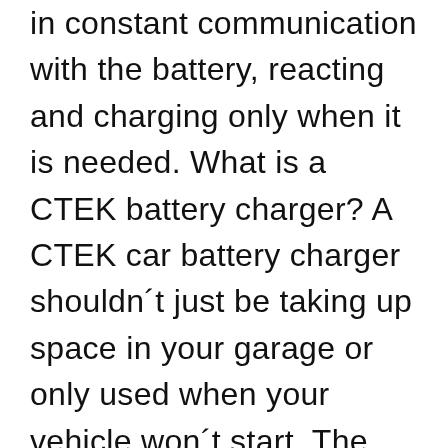in constant communication with the battery, reacting and charging only when it is needed. What is a CTEK battery charger? A CTEK car battery charger shouldn´t just be taking up space in your garage or only used when your vehicle won´t start. The MXS 3.8 one of CTEK´s entry level models provides all round charging through a 7-